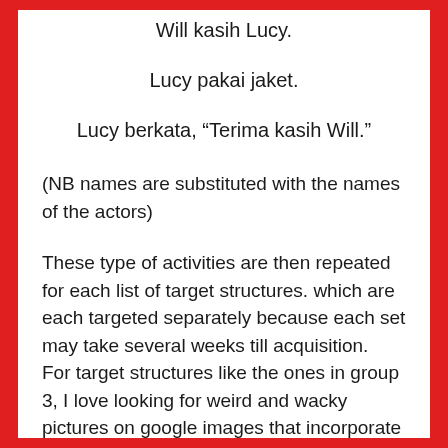Will kasih Lucy.
Lucy pakai jaket.
Lucy berkata, “Terima kasih Will.”
(NB names are substituted with the names of the actors)
These type of activities are then repeated for each list of target structures. which are each targeted separately because each set may take several weeks till acquisition.  For target structures like the ones in group 3, I love looking for weird and wacky pictures on google images that incorporate familiar and popular characters from recent films/books/tv programs and then use them to create a powerpoint. Harry Potter is reliably popular and easily identifiable by all year levels at my school so one powerpoint had a page with